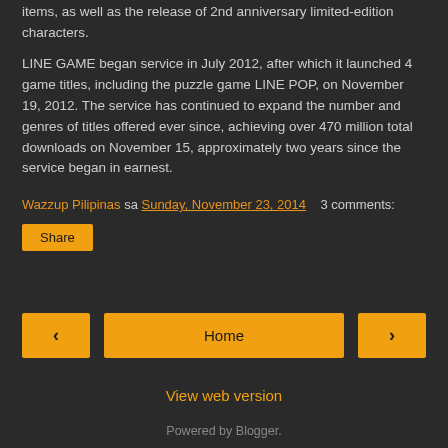items, as well as the release of 2nd anniversary limited-edition characters.
LINE GAME began service in July 2012, after which it launched 4 game titles, including the puzzle game LINE POP, on November 19, 2012. The service has continued to expand the number and genres of titles offered ever since, achieving over 470 million total downloads on November 15, approximately two years since the service began in earnest.
Wazzup Pilipinas sa Sunday, November 23, 2014  3 comments:
Share
< Home >
View web version
Powered by Blogger.